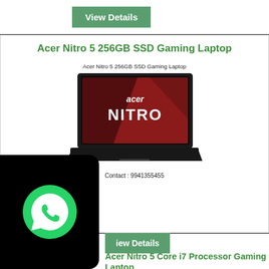[Figure (other): Green 'View Details' button at top left area]
Acer Nitro 5 256GB SSD Gaming Laptop
Acer Nitro 5 256GB SSD Gaming Laptop
[Figure (photo): Photo of Acer Nitro 5 gaming laptop with red backlit keyboard and NITRO branding on screen]
Contact : 9941355455
[Figure (logo): WhatsApp icon on black rounded rectangle overlay on left side]
[Figure (other): Green 'View Details' button at bottom]
Acer Nitro 5 Core i7 Processor Gaming Laptop